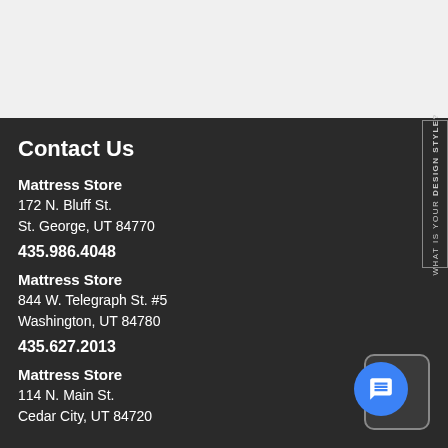Contact Us
Mattress Store
172 N. Bluff St.
St. George, UT 84770
435.986.4048
Mattress Store
844 W. Telegraph St. #5
Washington, UT 84780
435.627.2013
Mattress Store
114 N. Main St.
Cedar City, UT 84720